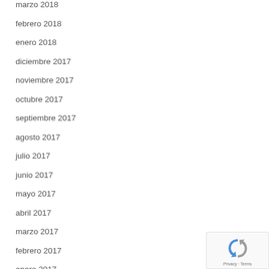marzo 2018
febrero 2018
enero 2018
diciembre 2017
noviembre 2017
octubre 2017
septiembre 2017
agosto 2017
julio 2017
junio 2017
mayo 2017
abril 2017
marzo 2017
febrero 2017
enero 2017